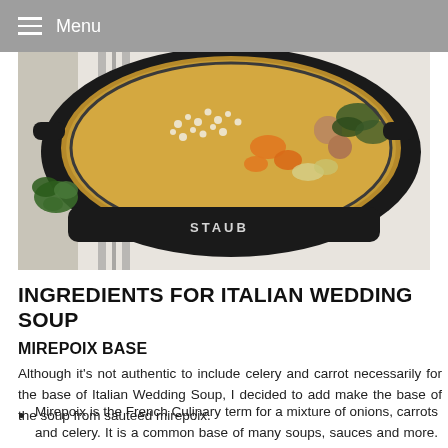Menu
[Figure (photo): Overhead photo of a black Staub cast iron pot containing Italian Wedding Soup with meatballs, small pasta, carrots, and greens in broth, on a striped white kitchen towel with fresh parsley beside it.]
INGREDIENTS FOR ITALIAN WEDDING SOUP
MIREPOIX BASE
Although it's not authentic to include celery and carrot necessarily for the base of Italian Wedding Soup, I decided to add make the base of the soup from sauteed mirepoix.
Mirepoix is the French Culinary term for a mixture of onions, carrots and celery. It is a common base of many soups, sauces and more. Mirepoix is two parts onion, one part celery and one part carrot.